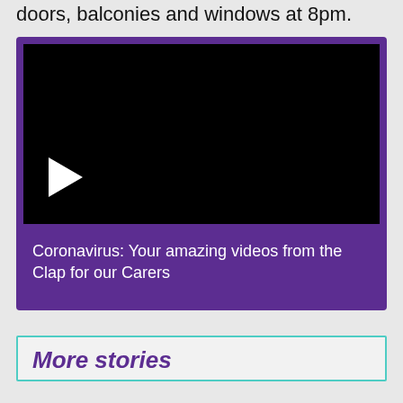doors, balconies and windows at 8pm.
[Figure (screenshot): Black video player with white play button triangle in the lower-left area, embedded in a purple frame]
Coronavirus: Your amazing videos from the Clap for our Carers
More stories